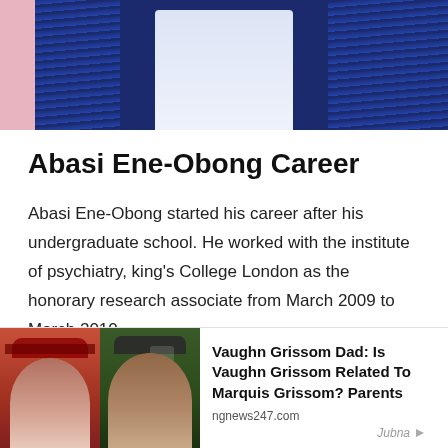[Figure (photo): Person wearing a pinstripe suit and light blue dress shirt, photographed from chest up, with pink background visible at left edge]
Abasi Ene-Obong Career
Abasi Ene-Obong started his career after his undergraduate school. He worked with the institute of psychiatry, king's College London as the honorary research associate from March 2009 to March 2010.
got another work with Barts cancer institute London
[Figure (photo): Vaughn Grissom Dad: Is Vaughn Grissom Related To Marquis Grissom? Parents — advertisement card with two baseball player photos, source: ngnews247.com]